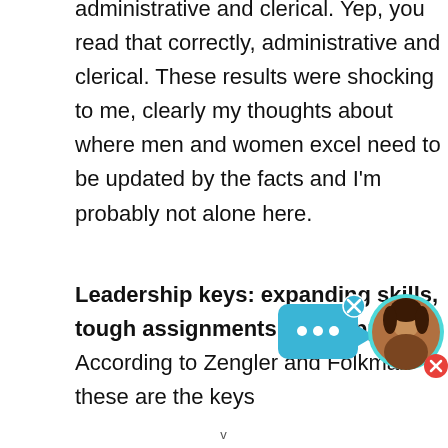administrative and clerical. Yep, you read that correctly, administrative and clerical. These results were shocking to me, clearly my thoughts about where men and women excel need to be updated by the facts and I'm probably not alone here.
Leadership keys: expanding skills, tough assignments and support
According to Zengler and Folkman these are the keys
[Figure (illustration): Chat widget with teal speech bubble showing three white dots and an X button, next to a circular avatar photo of a woman with teal border and a red close button.]
v